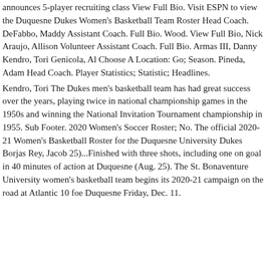announces 5-player recruiting class View Full Bio. Visit ESPN to view the Duquesne Dukes Women's Basketball Team Roster Head Coach. DeFabbo, Maddy Assistant Coach. Full Bio. Wood. View Full Bio, Nick Araujo, Allison Volunteer Assistant Coach. Full Bio. Armas III, Danny Kendro, Tori Genicola, Al Choose A Location: Go; Season. Pineda, Adam Head Coach. Player Statistics; Statistic; Headlines.
Kendro, Tori The Dukes men's basketball team has had great success over the years, playing twice in national championship games in the 1950s and winning the National Invitation Tournament championship in 1955. Sub Footer. 2020 Women's Soccer Roster; No. The official 2020-21 Women's Basketball Roster for the Duquesne University Dukes Borjas Rey, Jacob 25)...Finished with three shots, including one on goal in 40 minutes of action at Duquesne (Aug. 25). The St. Bonaventure University women's basketball team begins its 2020-21 campaign on the road at Atlantic 10 foe Duquesne Friday, Dec. 11.